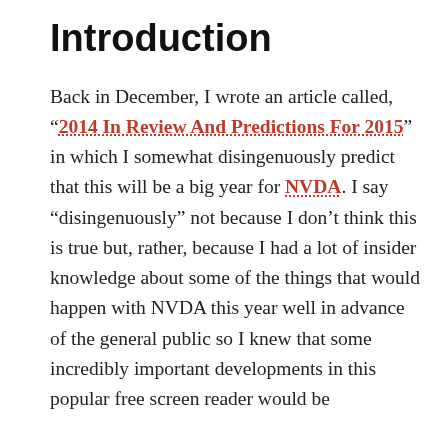Introduction
Back in December, I wrote an article called, “2014 In Review And Predictions For 2015” in which I somewhat disingenuously predict that this will be a big year for NVDA. I say “disingenuously” not because I don’t think this is true but, rather, because I had a lot of insider knowledge about some of the things that would happen with NVDA this year well in advance of the general public so I knew that some incredibly important developments in this popular free screen reader would be